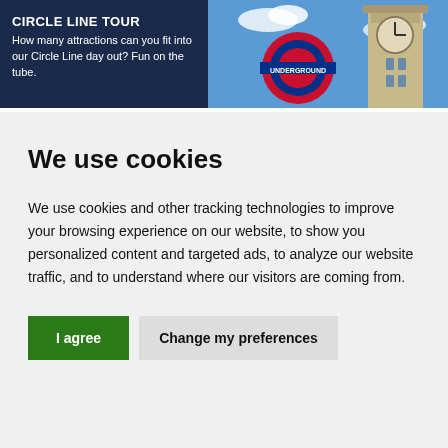[Figure (photo): Banner with dark navy blue background on the left showing 'CIRCLE LINE TOUR' text and description, and on the right a photo of the London Underground roundel sign and Big Ben against a blue sky.]
We use cookies
We use cookies and other tracking technologies to improve your browsing experience on our website, to show you personalized content and targeted ads, to analyze our website traffic, and to understand where our visitors are coming from.
I agree | Change my preferences